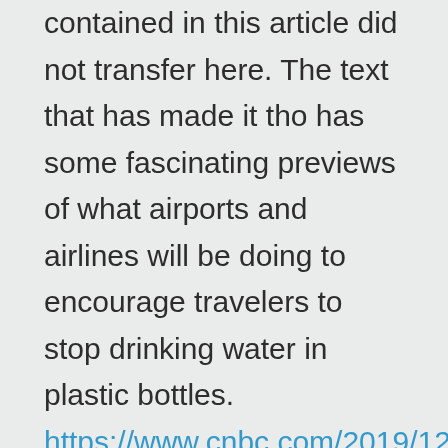contained in this article did not transfer here. The text that has made it tho has some fascinating previews of what airports and airlines will be doing to encourage travelers to stop drinking water in plastic bottles. https://www.cnbc.com/2019/12/22/airports-and-airlines-want-travelers-to-ditch-their-plastic-water-bottles.html Airports and